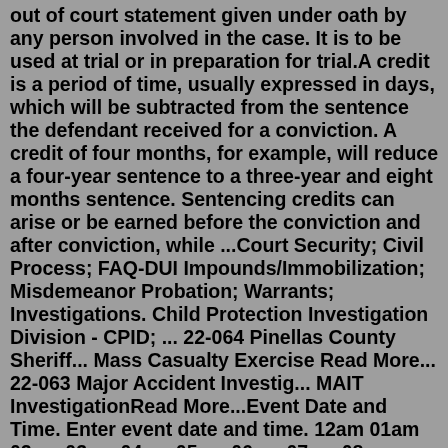out of court statement given under oath by any person involved in the case. It is to be used at trial or in preparation for trial.A credit is a period of time, usually expressed in days, which will be subtracted from the sentence the defendant received for a conviction. A credit of four months, for example, will reduce a four-year sentence to a three-year and eight months sentence. Sentencing credits can arise or be earned before the conviction and after conviction, while ...Court Security; Civil Process; FAQ-DUI Impounds/Immobilization; Misdemeanor Probation; Warrants; Investigations. Child Protection Investigation Division - CPID; ... 22-064 Pinellas County Sheriff... Mass Casualty Exercise Read More... 22-063 Major Accident Investig... MAIT InvestigationRead More...Event Date and Time. Enter event date and time. 12am 01am 02am 03am 04am 05am 06am 07am 08am 09am 10am 11am 12pm 01pm 02pm 03pm 04pm 05pm 06pm 07pm 08pm 09pm 10pm 11pm 00 05 10 15 20 25 30 35 40 45 50 55. All day. 12am 01am 02am 03am 04am 05am 06am 07am